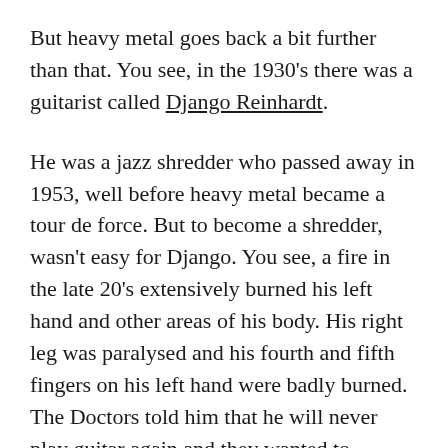But heavy metal goes back a bit further than that. You see, in the 1930's there was a guitarist called Django Reinhardt.
He was a jazz shredder who passed away in 1953, well before heavy metal became a tour de force. But to become a shredder, wasn't easy for Django. You see, a fire in the late 20's extensively burned his left hand and other areas of his body. His right leg was paralysed and his fourth and fifth fingers on his left hand were badly burned. The Doctors told him that he will never play guitar again and they wanted to